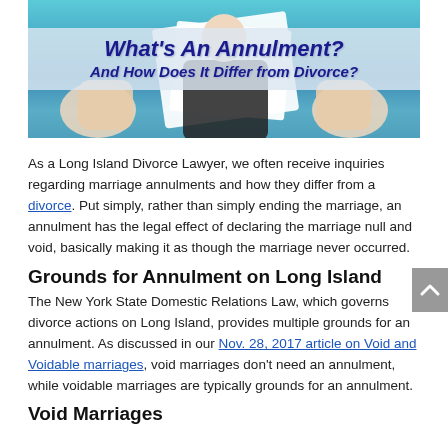[Figure (illustration): Hero image showing a person holding papers with text overlay: 'What's An Annulment? And How Does It Differ from Divorce?' on a blue background.]
As a Long Island Divorce Lawyer, we often receive inquiries regarding marriage annulments and how they differ from a divorce. Put simply, rather than simply ending the marriage, an annulment has the legal effect of declaring the marriage null and void, basically making it as though the marriage never occurred.
Grounds for Annulment on Long Island
The New York State Domestic Relations Law, which governs divorce actions on Long Island, provides multiple grounds for an annulment. As discussed in our Nov. 28, 2017 article on Void and Voidable marriages, void marriages don't need an annulment, while voidable marriages are typically grounds for an annulment.
Void Marriages